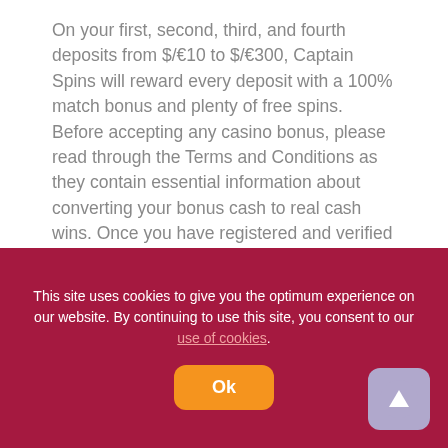On your first, second, third, and fourth deposits from $/€10 to $/€300, Captain Spins will reward every deposit with a 100% match bonus and plenty of free spins. Before accepting any casino bonus, please read through the Terms and Conditions as they contain essential information about converting your bonus cash to real cash wins. Once you have registered and verified your new account, you will always be kept flush with plenty of free bonus cash and delightful free spins.
Welcome Offer
This site uses cookies to give you the optimum experience on our website. By continuing to use this site, you consent to our use of cookies.